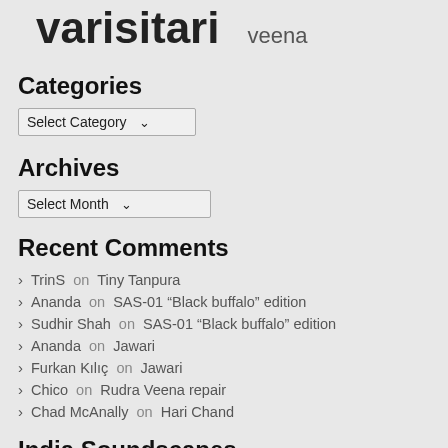varisitari veena
Categories
Select Category
Archives
Select Month
Recent Comments
TrinS on Tiny Tanpura
Ananda on SAS-01 “Black buffalo” edition
Sudhir Shah on SAS-01 “Black buffalo” edition
Ananda on Jawari
Furkan Kılıç on Jawari
Chico on Rudra Veena repair
Chad McAnally on Hari Chand
India Soundscapes
Bairagi on SAS-02